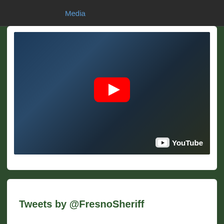Media
[Figure (screenshot): YouTube video thumbnail showing a blue tarp with a red YouTube play button overlay and YouTube logo watermark in bottom right]
Tweets by @FresnoSheriff
Jail
Calling 911: The Five Ws
Civil
Crime Stoppers
Evictions and FAQs
General Information